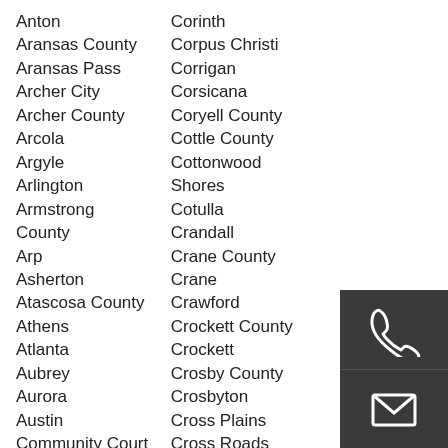Anton
Corinth
Aransas County
Corpus Christi
Aransas Pass
Corrigan
Archer City
Corsicana
Archer County
Coryell County
Arcola
Cottle County
Argyle
Cottonwood
Arlington
Shores
Armstrong
Cotulla
County
Crandall
Arp
Crane County
Asherton
Crane
Atascosa County
Crawford
Athens
Crockett County
Atlanta
Crockett
Aubrey
Crosby County
Aurora
Crosbyton
Austin
Cross Plains
Community Court
Cross Roads
[Figure (illustration): Dark grey square icon with a white telephone handset symbol]
[Figure (illustration): Dark grey square icon with a white envelope/mail symbol]